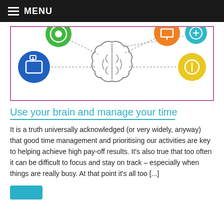MENU
[Figure (illustration): Brain infographic with colorful circular icons connected by dotted lines to a central brain outline drawing. Icons include blue, green, orange, teal, and yellow circles on a white background with a pink/purple border.]
Use your brain and manage your time
It is a truth universally acknowledged (or very widely, anyway) that good time management and prioritising our activities are key to helping achieve high pay-off results. It's also true that too often it can be difficult to focus and stay on track – especially when things are really busy. At that point it's all too [...]